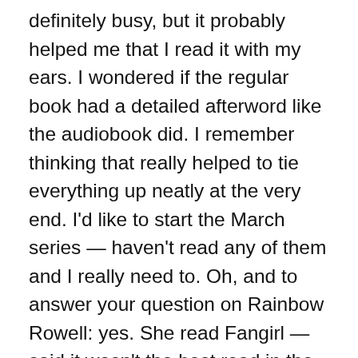definitely busy, but it probably helped me that I read it with my ears. I wondered if the regular book had a detailed afterword like the audiobook did. I remember thinking that really helped to tie everything up neatly at the very end. I'd like to start the March series — haven't read any of them and I really need to. Oh, and to answer your question on Rainbow Rowell: yes. She read Fangirl — said it wasn't the best read in the world for her, but that it was still okay. She always planned to read Carry On since that was a sort of spinoff from